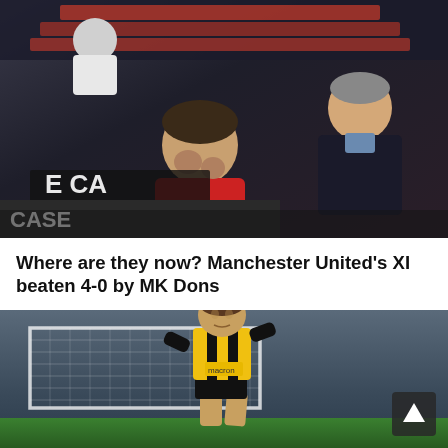[Figure (photo): Louis van Gaal watches from the dugout as a man in a red scarf holds his head in his hands, stadium seats visible in background. Manchester United context.]
Where are they now? Manchester United's XI beaten 4-0 by MK Dons
[Figure (photo): A young footballer in a black and yellow Vitesse Arnhem kit runs on a football pitch with a goal net visible in the background.]